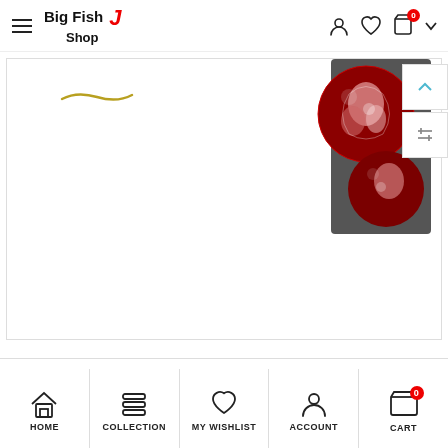[Figure (screenshot): E-commerce website screenshot showing Big Fish J Shop logo, navigation bar with hamburger menu, user/wishlist/cart icons, a product image area showing decorative red glass beads with floral pattern (partially visible top-right), a back-to-top button, a filter button, and a bottom navigation bar with HOME, COLLECTION, MY WISHLIST, ACCOUNT, CART icons and labels.]